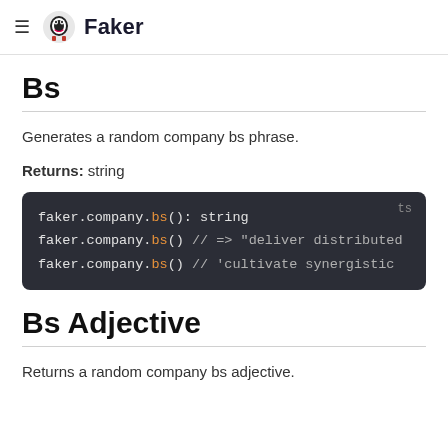Faker
Bs
Generates a random company bs phrase.
Returns: string
[Figure (screenshot): Code block showing faker.company.bs(): string usage examples with TypeScript label]
Bs Adjective
Returns a random company bs adjective.